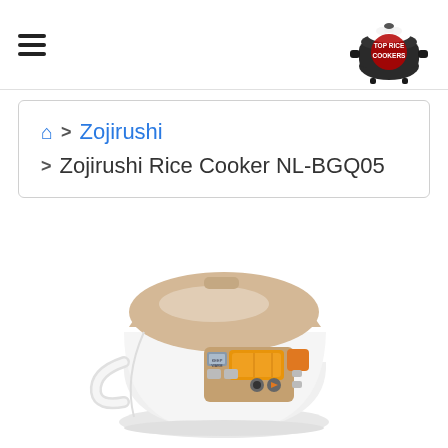[Figure (logo): Hamburger menu icon (three horizontal lines) at top left of header]
[Figure (logo): Top Rice Cookers logo: black rice cooker pot with white rice on top, red circular text overlay reading TOP RICE COOKERS]
🏠 > Zojirushi > Zojirushi Rice Cooker NL-BGQ05
[Figure (photo): Zojirushi Rice Cooker NL-BGQ05 product photo: white and champagne gold electric rice cooker with digital display panel showing orange LCD, control buttons, and a white/gray body with handle on left side]